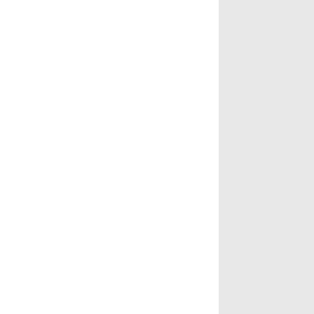protected.
Logging:
* Extracted AbstractLogger out of BasicLogger, and changed RoutingLogger to extend AbstractLogger, rather than BasicLogger.